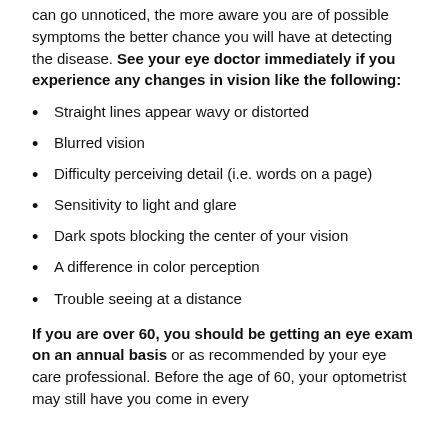can go unnoticed, the more aware you are of possible symptoms the better chance you will have at detecting the disease. See your eye doctor immediately if you experience any changes in vision like the following:
Straight lines appear wavy or distorted
Blurred vision
Difficulty perceiving detail (i.e. words on a page)
Sensitivity to light and glare
Dark spots blocking the center of your vision
A difference in color perception
Trouble seeing at a distance
If you are over 60, you should be getting an eye exam on an annual basis or as recommended by your eye care professional. Before the age of 60, your optometrist may still have you come in every